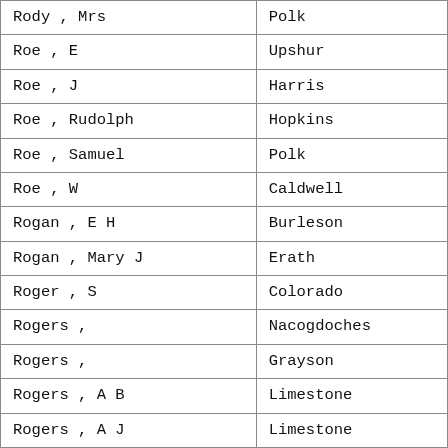| Name | County |
| --- | --- |
| Rody , Mrs | Polk |
| Roe , E | Upshur |
| Roe , J | Harris |
| Roe , Rudolph | Hopkins |
| Roe , Samuel | Polk |
| Roe , W | Caldwell |
| Rogan , E H | Burleson |
| Rogan , Mary J | Erath |
| Roger , S | Colorado |
| Rogers , | Nacogdoches |
| Rogers , | Grayson |
| Rogers , A B | Limestone |
| Rogers , A J | Limestone |
| Rogers , A J | Limestone |
| Rogers , A J | Orange |
| Rogers , A M | Titus |
| Rogers , A P | Rusk |